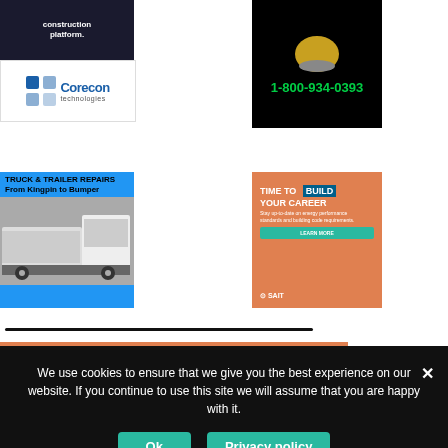[Figure (illustration): Dark blue construction platform advertisement with white text]
[Figure (logo): Corecon technologies logo in blue and gray]
[Figure (illustration): Black background ad with green phone number 1-800-934-0393]
[Figure (illustration): Blue truck and trailer repairs ad with text 'TRUCK & TRAILER REPAIRS From Kingpin to Bumper' and image of truck]
[Figure (illustration): SAIT orange advertisement with text 'TIME TO BUILD YOUR CAREER' and learn more button]
We use cookies to ensure that we give you the best experience on our website. If you continue to use this site we will assume that you are happy with it.
Ok
Privacy policy